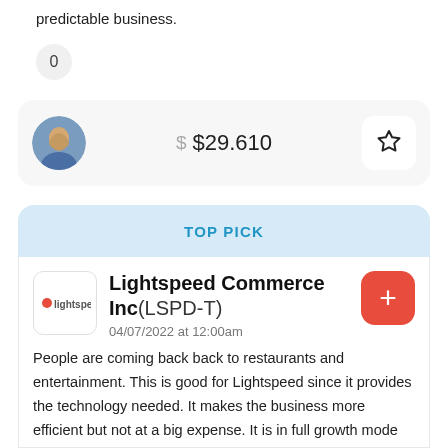predictable business.
0
$ $29.610
TOP PICK
Lightspeed Commerce Inc(LSPD-T)
04/07/2022 at 12:00am
People are coming back back to restaurants and entertainment. This is good for Lightspeed since it provides the technology needed. It makes the business more efficient but not at a big expense. It is in full growth mode and should be profitable the